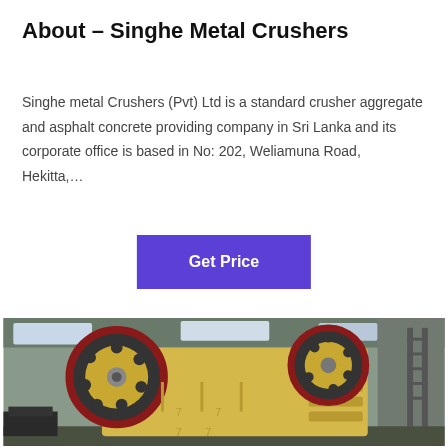About – Singhe Metal Crushers
Singhe metal Crushers (Pvt) Ltd is a standard crusher aggregate and asphalt concrete providing company in Sri Lanka and its corporate office is based in No: 202, Weliamuna Road, Hekitta,…
Get Price
[Figure (photo): Industrial jaw crusher machine painted yellow with large red-rimmed flywheels, photographed inside a factory/industrial shed.]